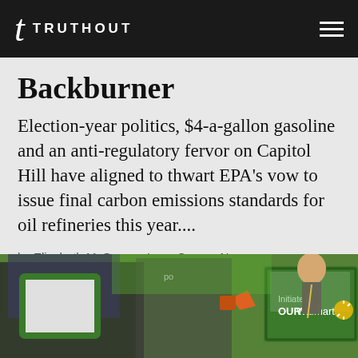TRUTHOUT
Backburner
Election-year politics, $4-a-gallon gasoline and an anti-regulatory fervor on Capitol Hill have aligned to thwart EPA's vow to issue final carbon emissions standards for oil refineries this year....
by Elizabeth McGowan, InsideClimate News
March 11, 2012
[Figure (photo): Protesters holding green signs at a rally, one sign reads 'OURWalmart']